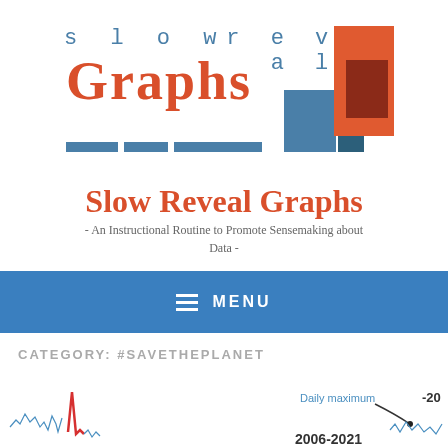[Figure (logo): Slow Reveal Graphs logo with stylized text 'slow reveal' in monospace and 'Graphs' in large red serif font, with blue and orange/red bar chart rectangles]
Slow Reveal Graphs
- An Instructional Routine to Promote Sensemaking about Data -
≡ MENU
CATEGORY: #SAVETHEPLANET
[Figure (line-chart): Partial line chart showing daily maximum temperatures with legend entry 'Daily maximum' and year range '2006-2021', value '-20' visible on right axis]